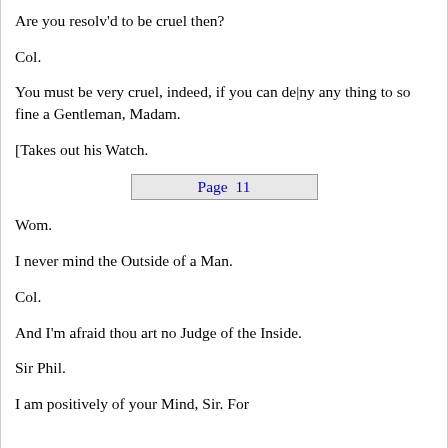Are you resolv'd to be cruel then?
Col.
You must be very cruel, indeed, if you can de|ny any thing to so fine a Gentleman, Madam.
[Takes out his Watch.
Page  11
Wom.
I never mind the Outside of a Man.
Col.
And I'm afraid thou art no Judge of the Inside.
Sir Phil.
I am positively of your Mind, Sir. For